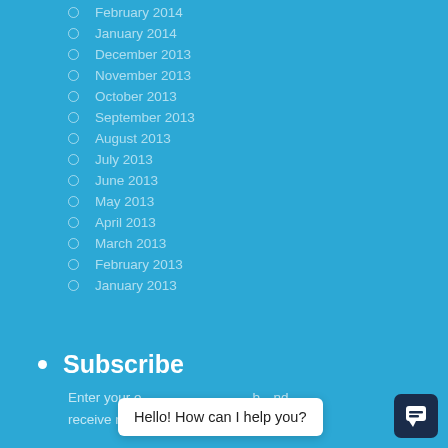February 2014
January 2014
December 2013
November 2013
October 2013
September 2013
August 2013
July 2013
June 2013
May 2013
April 2013
March 2013
February 2013
January 2013
Subscribe
Enter your e... b...nd receive notifications of new posts by email.
Hello! How can I help you?